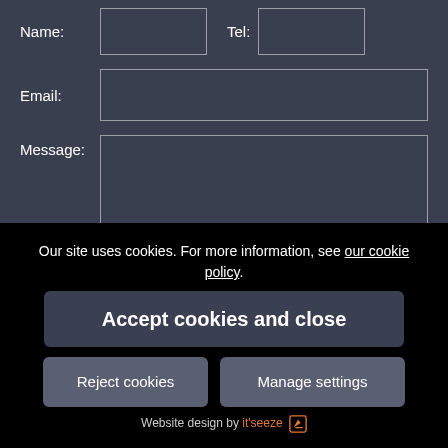Name:
Tel:
Email:
Message:
Our site uses cookies. For more information, see our cookie policy.
Send
Accept cookies and close
Reject cookies
Manage settings
Website design by it'seeze